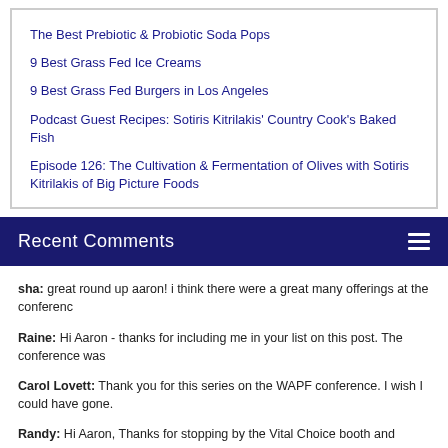The Best Prebiotic & Probiotic Soda Pops
9 Best Grass Fed Ice Creams
9 Best Grass Fed Burgers in Los Angeles
Podcast Guest Recipes: Sotiris Kitrilakis' Country Cook's Baked Fish
Episode 126: The Cultivation & Fermentation of Olives with Sotiris Kitrilakis of Big Picture Foods
Recent Comments
sha: great round up aaron! i think there were a great many offerings at the conferenc
Raine: Hi Aaron - thanks for including me in your list on this post. The conference was
Carol Lovett: Thank you for this series on the WAPF conference. I wish I could have gone.
Randy: Hi Aaron, Thanks for stopping by the Vital Choice booth and for mentioning us in your post.